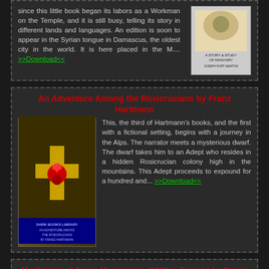since this little book began its labors as a Workman on the Temple, and it is still busy, telling its story in different lands and languages. An edition is soon to appear in the Syrian tongue in Damascus, the oldest city in the world. It is here placed in the M.... >>Download<<
[Figure (illustration): Book cover: A Story & Study of Masonry by Joseph Newton]
An Adventure Among the Rosicrucians by Franz Hartmann
This, the third of Hartmann's books, and the first with a fictional setting, begins with a journey in the Alps. The narrator meets a mysterious dwarf. The dwarf takes him to an Adept who resides in a hidden Rosicrucian colony high in the mountains. This Adept proceeds to expound for a hundred and... >>Download<<
[Figure (illustration): Book cover: Dark Books Library - An Adventure Among the Rosicrucians by Franz Hartmann]
Martinisme et Franc Masonnerie (1899,in French) by Papus
Papus, born Gerard Encausse [July 13, 1865 - October 25, 1916], (Papus was a
[Figure (illustration): Book cover: Martinisme et Franc-Maconnerie by Papus]